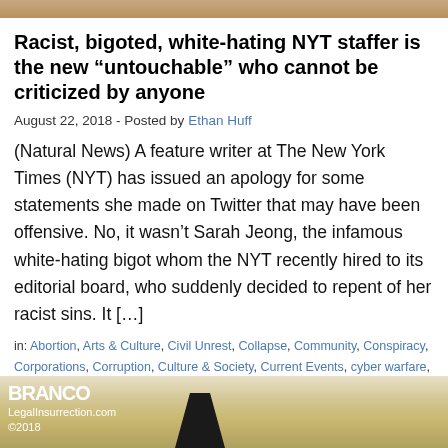[Figure (photo): Top decorative image strip, brown/tan gradient]
Racist, bigoted, white-hating NYT staffer is the new “untouchable” who cannot be criticized by anyone
August 22, 2018 - Posted by Ethan Huff
(Natural News) A feature writer at The New York Times (NYT) has issued an apology for some statements she made on Twitter that may have been offensive. No, it wasn’t Sarah Jeong, the infamous white-hating bigot whom the NYT recently hired to its editorial board, who suddenly decided to repent of her racist sins. It […]
in: Abortion, Arts & Culture, Civil Unrest, Collapse, Community, Conspiracy, Corporations, Corruption, Culture & Society, Current Events, cyber warfare, Deception, Depopulation, Editorials, Fake News, Fascism, First Amendment, Freedom, Fundamental Rights, Future, Genocide, History, Human rights, Jihad, Journalism, Liberty, Lies, Mainstream Media, Men’s health, Mind Control Programs, National Security, Philosophy, Police state, Policing, Political correctness, Politics, Politics, Propaganda, social media, terrorism, Totalitarianism, Twitter, War
[Figure (illustration): Branco cartoon panel from LegalInsurrection.com ©2018, showing partial image with a dark arrow shape at bottom]